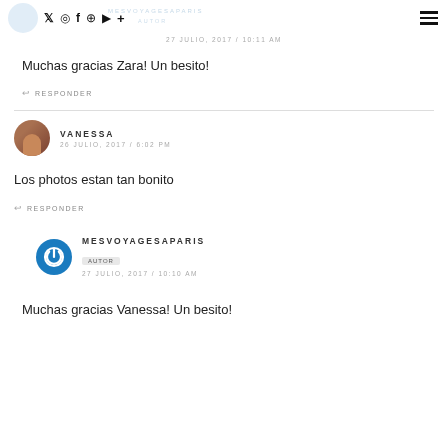MESVOYAGESAPARIS | social icons | hamburger menu
27 JULIO, 2017 / 10:11 AM
Muchas gracias Zara! Un besito!
RESPONDER
VANESSA
26 JULIO, 2017 / 6:02 PM
Los photos estan tan bonito
RESPONDER
MESVOYAGESAPARIS
AUTOR
27 JULIO, 2017 / 10:10 AM
Muchas gracias Vanessa! Un besito!